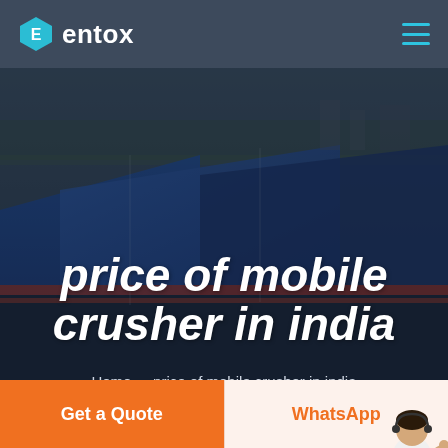entox
[Figure (photo): Aerial view of an industrial facility / factory complex with large blue-roofed warehouse buildings, used as hero background image]
price of mobile crusher in india
Home  -  price of mobile crusher in india
Get a Quote
WhatsApp